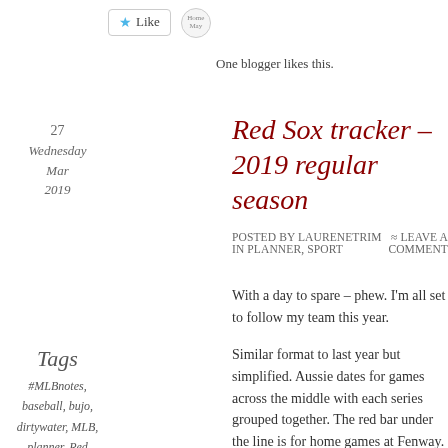[Figure (other): Like button with star icon and a circular avatar badge next to it]
One blogger likes this.
27
Wednesday
Mar
2019
Red Sox tracker – 2019 regular season
Posted by laurenetrim in planner, sport ≈ Leave a comment
With a day to spare – phew. I'm all set to follow my team this year.
Tags
#MLBnotes, baseball, bujo, dirtywater, MLB, planner, Red Sox, Red Sox nation, regular
Similar format to last year but simplified. Aussie dates for games across the middle with each series grouped together. The red bar under the line is for home games at Fenway. Scores go in up the line with two lines at the top for notes. Last year I did one line pitching, one line for the rest but I think I'll split offence